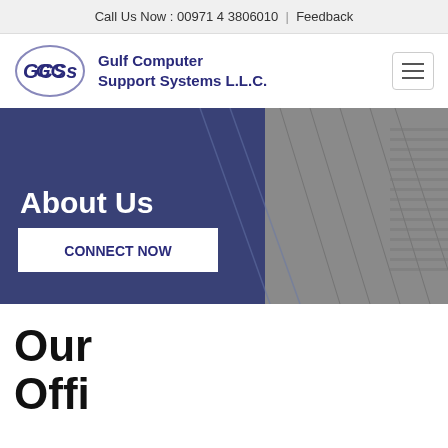Call Us Now : 00971 4 3806010 | Feedback
[Figure (logo): GCSS Gulf Computer Support Systems L.L.C. logo with oval GCSS emblem]
[Figure (photo): Hero banner with About Us heading, CONNECT NOW button, and architectural building background with dark blue overlay]
Our Offi...